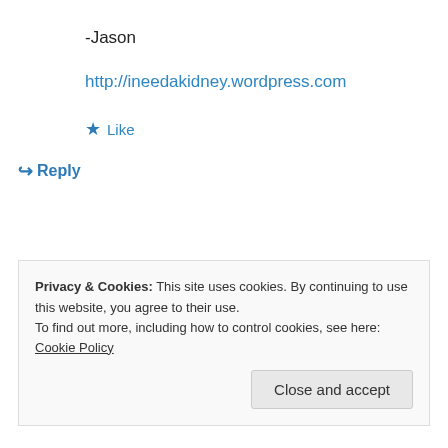-Jason
http://ineedakidney.wordpress.com
★ Like
↪ Reply
Privacy & Cookies: This site uses cookies. By continuing to use this website, you agree to their use.
To find out more, including how to control cookies, see here: Cookie Policy
Close and accept